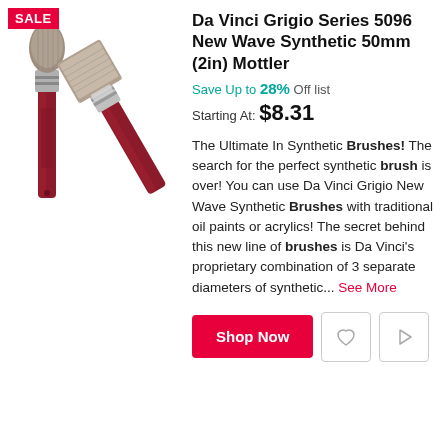[Figure (photo): Two Da Vinci Grigio Series 5096 paint brushes with dark red handles and flat synthetic bristles, shown from two angles. A red SALE badge is in the top-left corner of the image area.]
Da Vinci Grigio Series 5096 New Wave Synthetic 50mm (2in) Mottler
Save Up to 28% Off list
Starting At: $8.31
The Ultimate In Synthetic Brushes! The search for the perfect synthetic brush is over! You can use Da Vinci Grigio New Wave Synthetic Brushes with traditional oil paints or acrylics! The secret behind this new line of brushes is Da Vinci's proprietary combination of 3 separate diameters of synthetic... See More
Shop Now